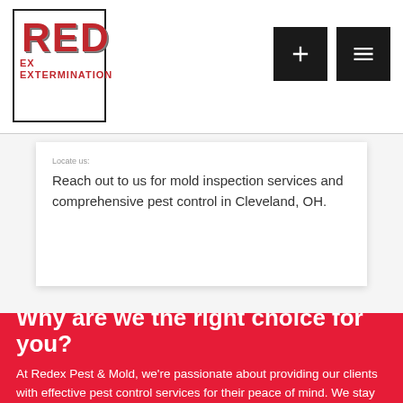[Figure (logo): RED EX EXTERMINATION logo in red block letters with distressed texture inside a black bordered box]
Reach out to us for mold inspection services and comprehensive pest control in Cleveland, OH.
Why are we the right choice for you?
At Redex Pest & Mold, we're passionate about providing our clients with effective pest control services for their peace of mind. We stay one step ahead of our competition with:
Convenient availability -call us at any hour of the day for prompt emergency pest control services. Insects and rodents won't wait, so why should you?
Quality work -we're fully licensed and insured to provide pest